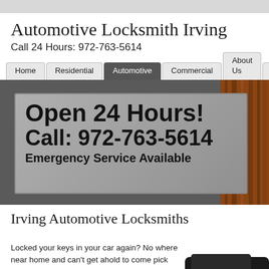Automotive Locksmith Irving
Call 24 Hours: 972-763-5614
Home | Residential | Automotive | Commercial | About Us | Con...
[Figure (screenshot): Hero banner with gray gradient background and wood panel on right. Text box reading: Open 24 Hours! / Call: 972-763-5614 / Emergency Service Available]
Irving Automotive Locksmiths
Locked your keys in your car again? No where near home and can't get ahold to come pick you up? Well we provide 24-hour emergency service just for this